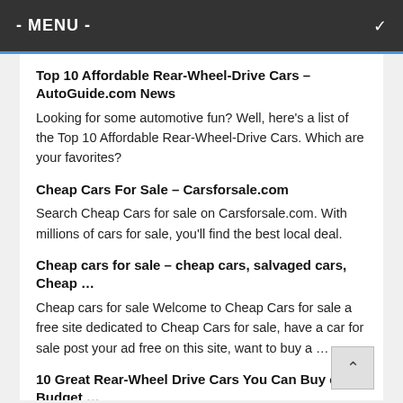- MENU -
Top 10 Affordable Rear-Wheel-Drive Cars – AutoGuide.com News
Looking for some automotive fun? Well, here's a list of the Top 10 Affordable Rear-Wheel-Drive Cars. Which are your favorites?
Cheap Cars For Sale – Carsforsale.com
Search Cheap Cars for sale on Carsforsale.com. With millions of cars for sale, you'll find the best local deal.
Cheap cars for sale – cheap cars, salvaged cars, Cheap …
Cheap cars for sale Welcome to Cheap Cars for sale a free site dedicated to Cheap Cars for sale, have a car for sale post your ad free on this site, want to buy a …
10 Great Rear-Wheel Drive Cars You Can Buy on a Budget …